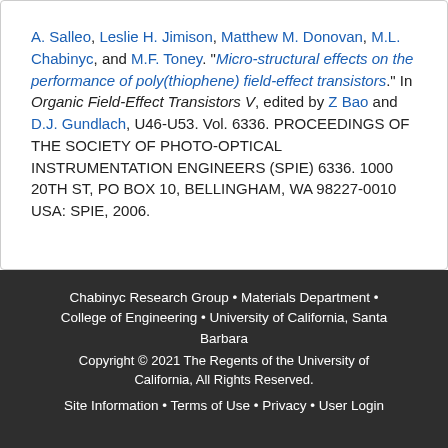A. Salleo, Leslie H. Jimison, Matthew M. Donovan, M.L. Chabinyc, and M.F. Toney. "Micro-structural effects on the performance of poly(thiophene) field-effect transistors." In Organic Field-Effect Transistors V, edited by Z Bao and D.J. Gundlach, U46-U53. Vol. 6336. PROCEEDINGS OF THE SOCIETY OF PHOTO-OPTICAL INSTRUMENTATION ENGINEERS (SPIE) 6336. 1000 20TH ST, PO BOX 10, BELLINGHAM, WA 98227-0010 USA: SPIE, 2006.
Chabinyc Research Group • Materials Department • College of Engineering • University of California, Santa Barbara
Copyright © 2021 The Regents of the University of California, All Rights Reserved.
Site Information • Terms of Use • Privacy • User Login